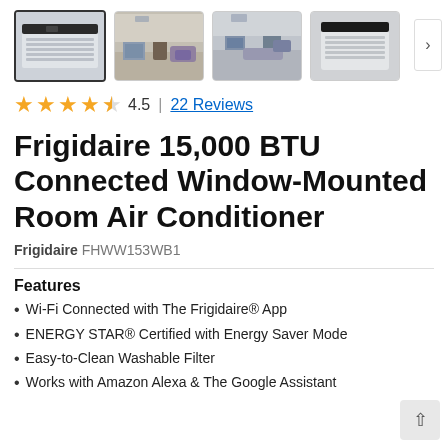[Figure (photo): Four product thumbnail images: first is a close-up of the Frigidaire window AC unit (selected/highlighted), second shows a living room with the AC in a window, third shows another room view with the AC installed, fourth shows the AC unit from an outdoor perspective. A navigation arrow button appears on the right.]
4.5 | 22 Reviews
Frigidaire 15,000 BTU Connected Window-Mounted Room Air Conditioner
Frigidaire FHWW153WB1
Features
Wi-Fi Connected with The Frigidaire® App
ENERGY STAR® Certified with Energy Saver Mode
Easy-to-Clean Washable Filter
Works with Amazon Alexa & The Google Assistant